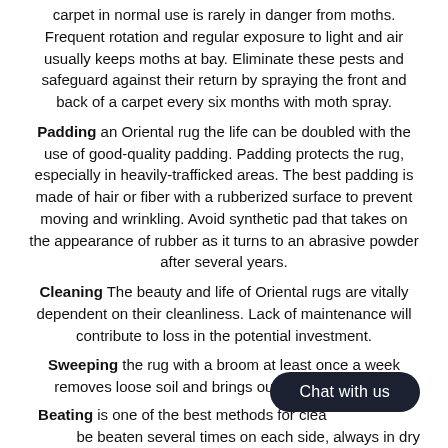carpet in normal use is rarely in danger from moths. Frequent rotation and regular exposure to light and air usually keeps moths at bay. Eliminate these pests and safeguard against their return by spraying the front and back of a carpet every six months with moth spray.
Padding an Oriental rug the life can be doubled with the use of good-quality padding. Padding protects the rug, especially in heavily-trafficked areas. The best padding is made of hair or fiber with a rubberized surface to prevent moving and wrinkling. Avoid synthetic pad that takes on the appearance of rubber as it turns to an abrasive powder after several years.
Cleaning The beauty and life of Oriental rugs are vitally dependent on their cleanliness. Lack of maintenance will contribute to loss in the potential investment.
Sweeping the rug with a broom at least once a week removes loose soil and brings out it's natural
Beating is one of the best methods for cleaning... be beaten several times on each side, always in dry weather.